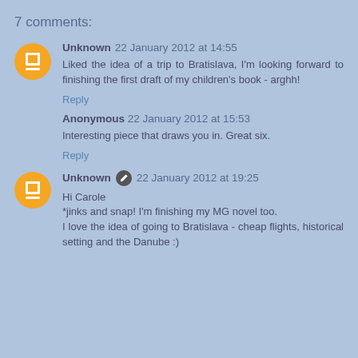7 comments:
Unknown 22 January 2012 at 14:55
Liked the idea of a trip to Bratislava, I'm looking forward to finishing the first draft of my children's book - arghh!
Reply
Anonymous 22 January 2012 at 15:53
Interesting piece that draws you in. Great six.
Reply
Unknown 22 January 2012 at 19:25
Hi Carole
*jinks and snap! I'm finishing my MG novel too.
I love the idea of going to Bratislava - cheap flights, historical setting and the Danube :)